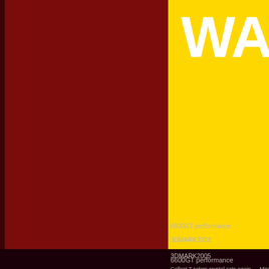[Figure (other): Yellow banner/header area with partial white text 'WA' visible at top right, dark maroon/red left sidebar, and dark brown main content area below yellow banner]
6600GT performance
3DMARK2003
3DMARK2005
Collect 7 colors crystal cats again..... Miracle comes ag